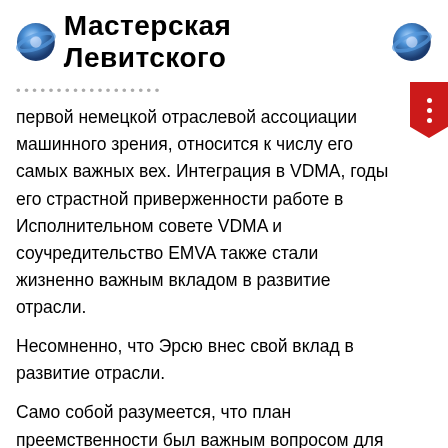🔵 Мастерская Левитского 🔵
первой немецкой отраслевой ассоциации машинного зрения, относится к числу его самых важных вех. Интеграция в VDMA, годы его страстной приверженности работе в Исполнительном совете VDMA и соучредительство EMVA также стали жизненно важным вкладом в развитие отрасли.
Несомненно, что Эрсю внес свой вклад в развитие отрасли.
Само собой разумеется, что план преемственности был важным вопросом для Эрсю. Из всех возможных вариантов стратегический альянс с отраслевым партнером оказался оптимальным выбором. «ISRA VISION